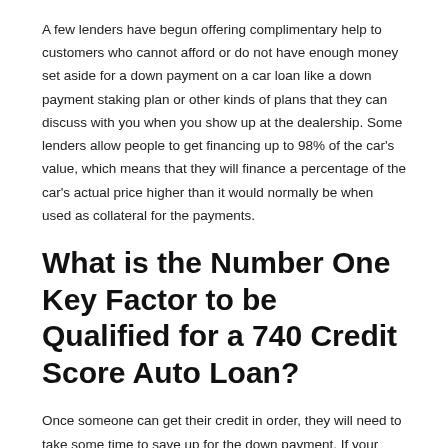A few lenders have begun offering complimentary help to customers who cannot afford or do not have enough money set aside for a down payment on a car loan like a down payment staking plan or other kinds of plans that they can discuss with you when you show up at the dealership. Some lenders allow people to get financing up to 98% of the car's value, which means that they will finance a percentage of the car's actual price higher than it would normally be when used as collateral for the payments.
What is the Number One Key Factor to be Qualified for a 740 Credit Score Auto Loan?
Once someone can get their credit in order, they will need to take some time to save up for the down payment. If your score is close to 740, you will be able to apply for a bank loan where you would